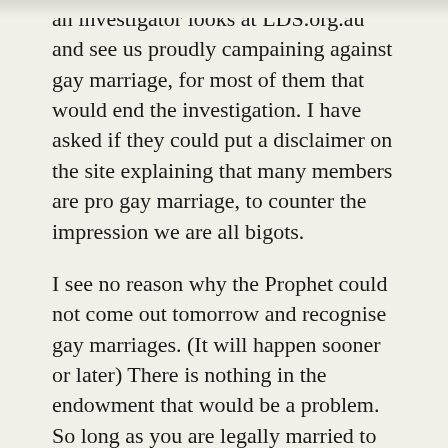an investigator looks at LDS.org.au and see us proudly campaining against gay marriage, for most of them that would end the investigation. I have asked if they could put a disclaimer on the site explaining that many members are pro gay marriage, to counter the impression we are all bigots.
I see no reason why the Prophet could not come out tomorrow and recognise gay marriages. (It will happen sooner or later) There is nothing in the endowment that would be a problem. So long as you are legally married to your husband or wife, you are living the law of chastity. Perhaps at the same time we could stop segregating the congregations. I tried sitting with my wife and was shooed back. If the gay couples could sit together I'd be jealous, but pleased.
I can't think of anything in the temple recommend interview, except support your leaders, that is a